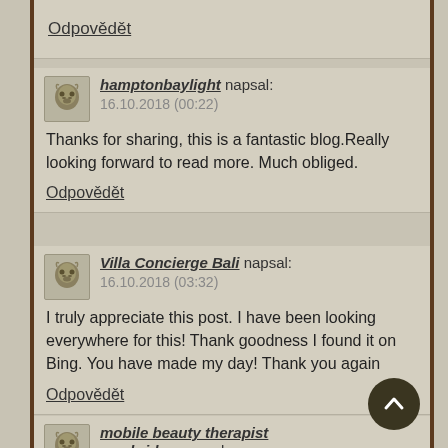Odpovědět
hamptonbaylight napsal:
16.10.2018 (00:22)
Thanks for sharing, this is a fantastic blog.Really looking forward to read more. Much obliged.
Odpovědět
Villa Concierge Bali napsal:
16.10.2018 (03:32)
I truly appreciate this post. I have been looking everywhere for this! Thank goodness I found it on Bing. You have made my day! Thank you again
Odpovědět
mobile beauty therapist cambridge napsal:
16.10.2018 (04:47)